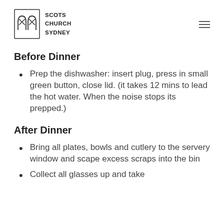[Figure (logo): Scots Church Sydney logo with arch icon and text]
Before Dinner
Prep the dishwasher: insert plug, press in small green button, close lid. (it takes 12 mins to lead the hot water. When the noise stops its prepped.)
After Dinner
Bring all plates, bowls and cutlery to the servery window and scape excess scraps into the bin
Collect all glasses up and take